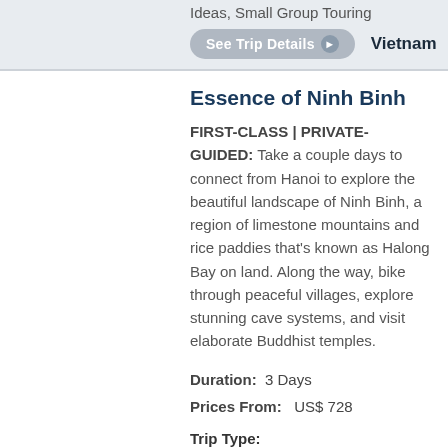Ideas, Small Group Touring
See Trip Details   Vietnam
Essence of Ninh Binh
FIRST-CLASS | PRIVATE-GUIDED: Take a couple days to connect from Hanoi to explore the beautiful landscape of Ninh Binh, a region of limestone mountains and rice paddies that's known as Halong Bay on land. Along the way, bike through peaceful villages, explore stunning cave systems, and visit elaborate Buddhist temples.
Duration:  3 Days
Prices From:   US$ 728
Trip Type:
Private Experiences, Romance & Honeymoon, Tailor-made Travel Idea
See Trip Details   Vietnam